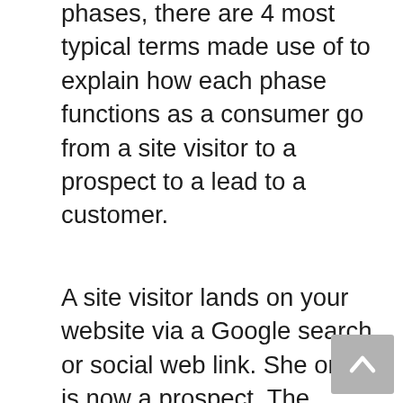phases, there are 4 most typical terms made use of to explain how each phase functions as a consumer go from a site visitor to a prospect to a lead to a customer.
A site visitor lands on your website via a Google search or social web link. She or he is now a prospect. The visitor may take a look at a few of your article or surf your product listings. At some time, you offer him or her a chance to enroll in your email checklist.
If the visitor completes your type, she or he comes to be a lead. You can now